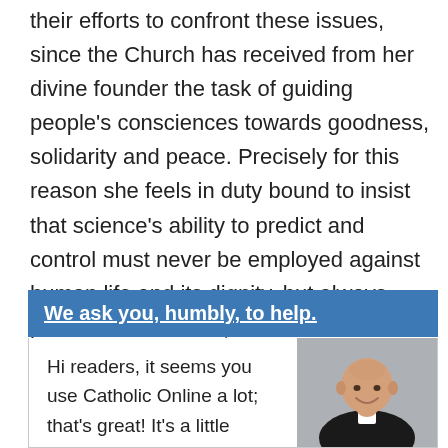their efforts to confront these issues, since the Church has received from her divine founder the task of guiding people's consciences towards goodness, solidarity and peace. Precisely for this reason she feels in duty bound to insist that science's ability to predict and control must never be employed against human life and its dignity, but always placed at its service, at the service of this and future generations.
We ask you, humbly, to help.
Hi readers, it seems you use Catholic Online a lot; that's great! It's a little awkward to
[Figure (photo): Portrait photo of a bald smiling man wearing a black clerical suit with white collar]